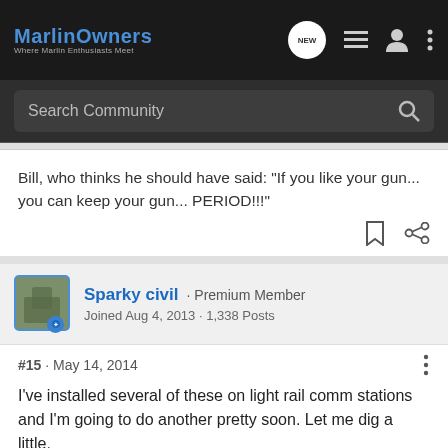MarlinOwners Where Marlin Enthusiasts Meet
Search Community
Bill, who thinks he should have said: "If you like your gun... you can keep your gun... PERIOD!!!"
Sparky civil · Premium Member
Joined Aug 4, 2013 · 1,338 Posts
#15 · May 14, 2014
I've installed several of these on light rail comm stations and I'm going to do another pretty soon. Let me dig a little.
[Figure (photo): Advertisement image showing a dark firearm/gun part with text 'EXCEPTIONAL DESIGNS. EXCEPTIONAL CRAFTSMANSHIP.' and a logo in the corner]